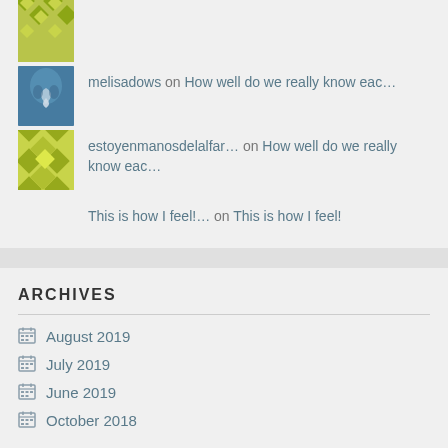[Figure (illustration): Quilt pattern avatar (yellow-green diamond pattern)]
melisadows on How well do we really know eac...
[Figure (photo): Blue photo with heart shape avatar]
estoyenmanosdelalfar... on How well do we really know eac...
[Figure (illustration): Quilt pattern avatar (yellow-green diamond pattern)]
This is how I feel!... on This is how I feel!
ARCHIVES
August 2019
July 2019
June 2019
October 2018